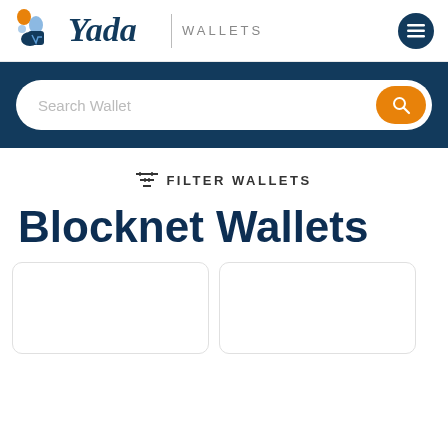[Figure (logo): Yada Wallets logo with icon and wordmark, horizontal divider, WALLETS text, and hamburger menu button]
[Figure (screenshot): Search Wallet input bar with orange search button on dark navy background]
☰ FILTER WALLETS
Blocknet Wallets
[Figure (screenshot): Two partial wallet cards at the bottom of the page]